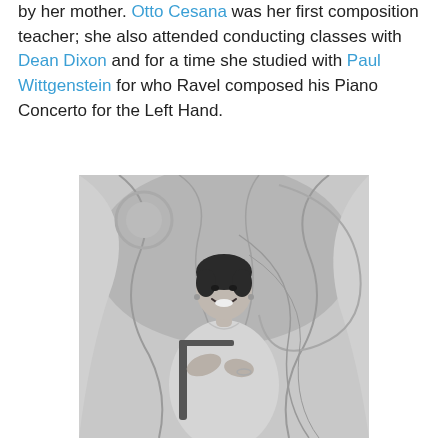by her mother. Otto Cesana was her first composition teacher; she also attended conducting classes with Dean Dixon and for a time she studied with Paul Wittgenstein for who Ravel composed his Piano Concerto for the Left Hand.
[Figure (photo): Black and white portrait photograph of a young woman smiling, seated in a chair, wearing a light-colored dress, with a decorative draped fabric backdrop behind her.]